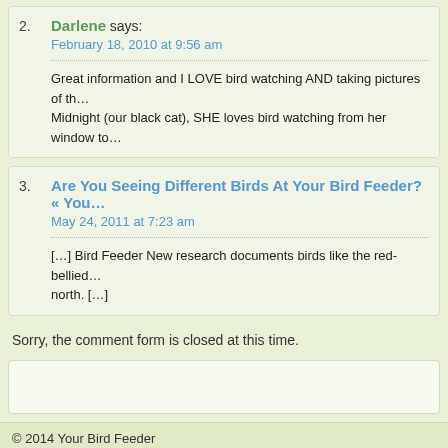2. Darlene says: February 18, 2010 at 9:56 am
Great information and I LOVE bird watching AND taking pictures of th… Midnight (our black cat), SHE loves bird watching from her window to…
3. Are You Seeing Different Birds At Your Bird Feeder? « You… May 24, 2011 at 7:23 am
[…] Bird Feeder New research documents birds like the red-bellied… north. […]
Sorry, the comment form is closed at this time.
© 2014 Your Bird Feeder